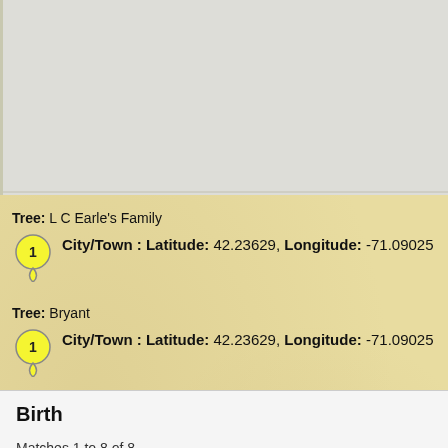[Figure (map): Gray map area, blank/featureless map background]
Tree: L C Earle's Family
City/Town : Latitude: 42.23629, Longitude: -71.09025
Tree: Bryant
City/Town : Latitude: 42.23629, Longitude: -71.09025
Birth
Matches 1 to 8 of 8